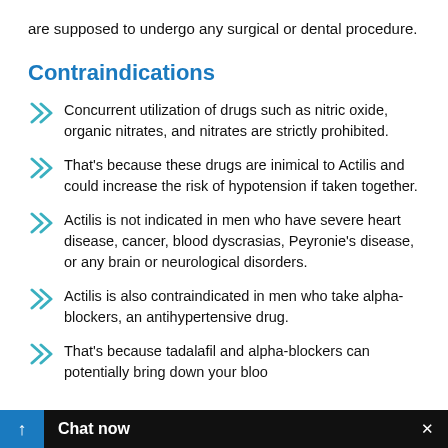are supposed to undergo any surgical or dental procedure.
Contraindications
Concurrent utilization of drugs such as nitric oxide, organic nitrates, and nitrates are strictly prohibited.
That's because these drugs are inimical to Actilis and could increase the risk of hypotension if taken together.
Actilis is not indicated in men who have severe heart disease, cancer, blood dyscrasias, Peyronie's disease, or any brain or neurological disorders.
Actilis is also contraindicated in men who take alpha-blockers, an antihypertensive drug.
That's because tadalafil and alpha-blockers can potentially bring down your bloo...